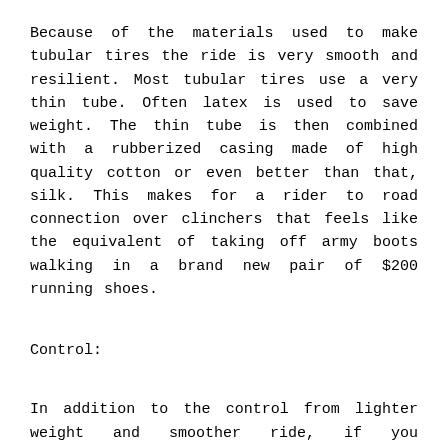Because of the materials used to make tubular tires the ride is very smooth and resilient. Most tubular tires use a very thin tube. Often latex is used to save weight. The thin tube is then combined with a rubberized casing made of high quality cotton or even better than that, silk. This makes for a rider to road connection over clinchers that feels like the equivalent of taking off army boots walking in a brand new pair of $200 running shoes.
Control:
In addition to the control from lighter weight and smoother ride, if you puncture, a tubular tire is more stable to ride on flat than a flat clincher tire. This is due to the shape of the box rim of a tubular tire. Instead of rolling around on the two ice skate like rails of a clincher rim with rubber folding underneath it, you have a flat rim section with rubber being distributed under it evenly. This is not a big deal unless you are going around a corner at 28 miles per hour with one